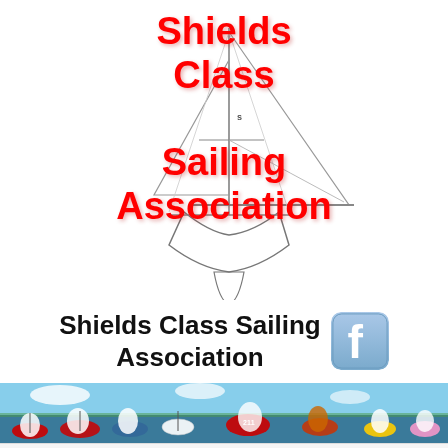[Figure (logo): Shields Class sailboat line drawing with red text overlay reading 'Shields Class Sailing Association']
Shields Class Sailing Association
[Figure (photo): Wide panoramic photo of multiple sailboats racing with colorful spinnakers on open water]
[Figure (logo): Bottom navigation bar with red S badge logo and hamburger menu icon]